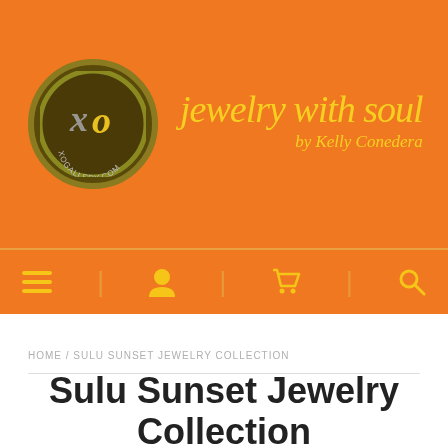[Figure (logo): XO Gallery logo — circular dark brown/olive badge with stylized 'xo' lettering in gray and yellow, text 'XOGALLERY.COM' around bottom]
jewelry with soul by Kelly Conedera
[Figure (infographic): Navigation bar with four icons: hamburger menu, user/account, shopping cart, search magnifier, separated by vertical dividers, on orange background]
HOME / SULU SUNSET JEWELRY COLLECTION
Sulu Sunset Jewelry Collection